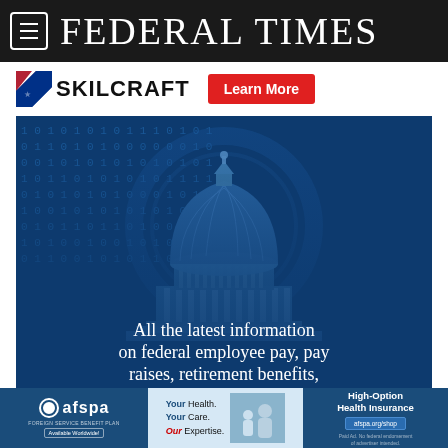FEDERAL TIMES
[Figure (logo): SKILCRAFT logo with American flag motif and Learn More button]
[Figure (photo): US Capitol dome with binary code overlay on blue background, text reads: All the latest information on federal employee pay, pay raises, retirement benefits,]
[Figure (infographic): AFSPA advertisement: Your Health. Your Care. Our Expertise. High-Option Health Insurance. afspa.org/shop]